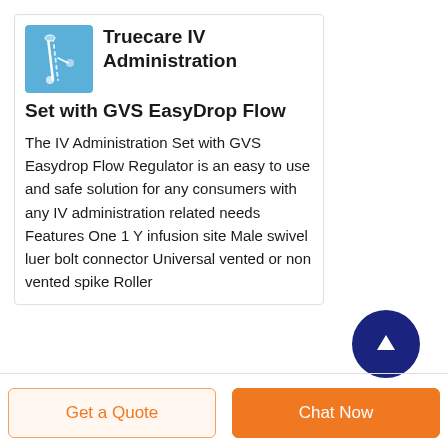[Figure (photo): Product image of IV Administration Set with GVS EasyDrop Flow Regulator on a blue background]
Truecare IV Administration Set with GVS EasyDrop Flow
The IV Administration Set with GVS Easydrop Flow Regulator is an easy to use and safe solution for any consumers with any IV administration related needs Features One 1 Y infusion site Male swivel luer bolt connector Universal vented or non vented spike Roller